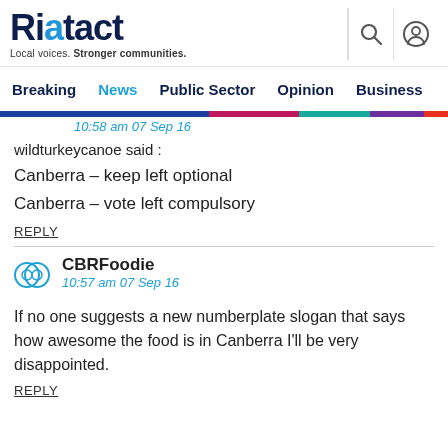Riotact — Local voices. Stronger communities.
Breaking  News  Public Sector  Opinion  Business
10:58 am 07 Sep 16
wildturkeycanoe said :
Canberra – keep left optional
Canberra – vote left compulsory
REPLY
CBRFoodie
10:57 am 07 Sep 16
If no one suggests a new numberplate slogan that says how awesome the food is in Canberra I'll be very disappointed.
REPLY